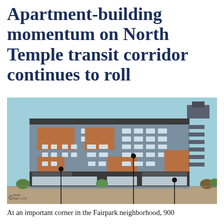Apartment-building momentum on North Temple transit corridor continues to roll
[Figure (illustration): Architectural rendering of a multi-story apartment building on North Temple transit corridor. The building features a modern design with blue-gray façade, wood-tone accent panels, large windows, ground-floor retail with awnings, and street trees. Three black annotation lines with circular markers point to features of the building. Scale note reads: North 1/16" = 1'-0"]
At an important corner in the Fairpark neighborhood, 900